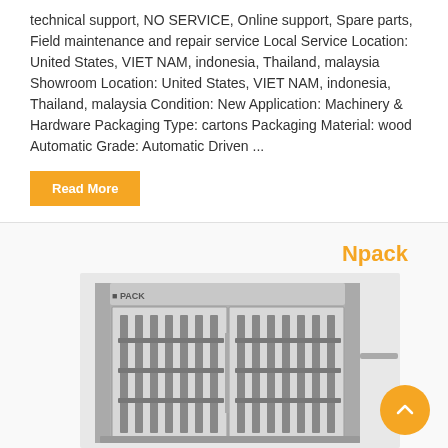technical support, NO SERVICE, Online support, Spare parts, Field maintenance and repair service Local Service Location: United States, VIET NAM, indonesia, Thailand, malaysia Showroom Location: United States, VIET NAM, indonesia, Thailand, malaysia Condition: New Application: Machinery & Hardware Packaging Type: cartons Packaging Material: wood Automatic Grade: Automatic Driven ...
Read More
Npack
[Figure (photo): Industrial packaging machine (Npack brand) with stainless steel enclosure, glass doors showing internal filling/dispensing mechanisms with multiple nozzles and mechanical components.]